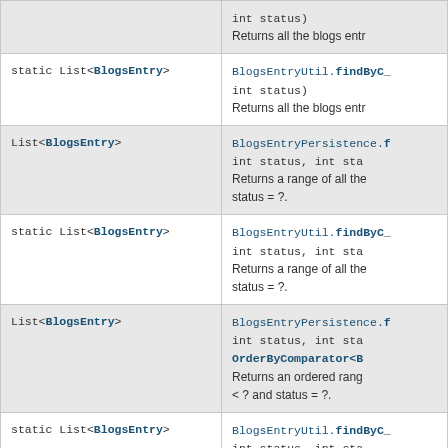| Type | Method / Description |
| --- | --- |
|  | int status)
Returns all the blogs entr... |
| static List<BlogsEntry> | BlogsEntryUtil.findByC_...
int status)
Returns all the blogs entr... |
| List<BlogsEntry> | BlogsEntryPersistence.f...
int status, int sta...
Returns a range of all the...
status = ?. |
| static List<BlogsEntry> | BlogsEntryUtil.findByC_...
int status, int sta...
Returns a range of all the...
status = ?. |
| List<BlogsEntry> | BlogsEntryPersistence.f...
int status, int sta...
OrderByComparator<B...
Returns an ordered rang...
< ? and status = ?. |
| static List<BlogsEntry> | BlogsEntryUtil.findByC_...
int status, int sta...
OrderByComparator<B...
Returns an ordered rang...
< ? and status = ?. |
| List<BlogsEntry> | BlogsEntryPersistence.f...
int status, int sta...
OrderByComparator<B...
boolean retrieveFro...
Returns... |